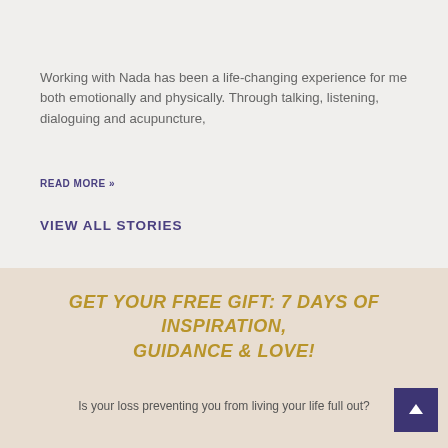Working with Nada has been a life-changing experience for me both emotionally and physically. Through talking, listening, dialoguing and acupuncture,
READ MORE »
VIEW ALL STORIES
GET YOUR FREE GIFT: 7 DAYS OF INSPIRATION, GUIDANCE & LOVE!
Is your loss preventing you from living your life full out?